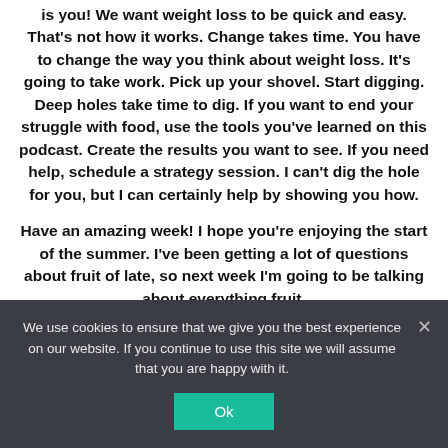is you! We want weight loss to be quick and easy. That's not how it works. Change takes time. You have to change the way you think about weight loss. It's going to take work. Pick up your shovel. Start digging. Deep holes take time to dig. If you want to end your struggle with food, use the tools you've learned on this podcast. Create the results you want to see. If you need help, schedule a strategy session. I can't dig the hole for you, but I can certainly help by showing you how.
Have an amazing week! I hope you're enjoying the start of the summer. I've been getting a lot of questions about fruit of late, so next week I'm going to be talking about everything fruit.
XOXO,
Brenda
We use cookies to ensure that we give you the best experience on our website. If you continue to use this site we will assume that you are happy with it.